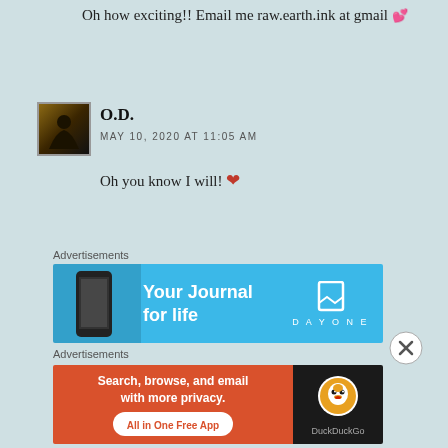Oh how exciting!! Email me raw.earth.ink at gmail 💕
[Figure (photo): User avatar: dark silhouette figure on brownish background]
O.D.
MAY 10, 2020 AT 11:05 AM
Oh you know I will! ❤
Advertisements
[Figure (screenshot): DayOne app advertisement: Your Journal for life]
Advertisements
[Figure (screenshot): DuckDuckGo advertisement: Search, browse, and email with more privacy. All in One Free App]